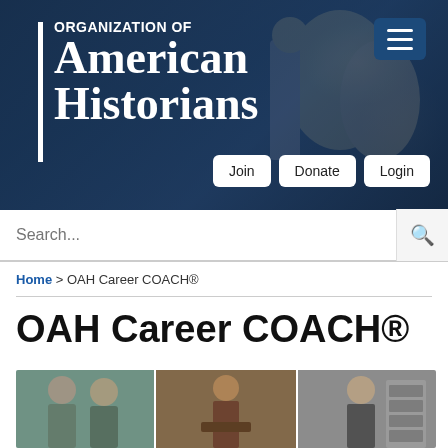[Figure (screenshot): Organization of American Historians website header banner with dark blue background, OAH logo with vertical white bar on left, large serif text reading 'Organization of American Historians', hamburger menu icon top right, Join/Donate/Login buttons, and search bar]
ORGANIZATION OF American Historians
Join   Donate   Login
Search...
Home > OAH Career COACH®
OAH Career COACH®
[Figure (photo): Three-panel photo strip showing various historians at work: left panel shows two people in park ranger uniforms, middle panel shows a woman speaking at a podium, right panel shows a man working with archival files]